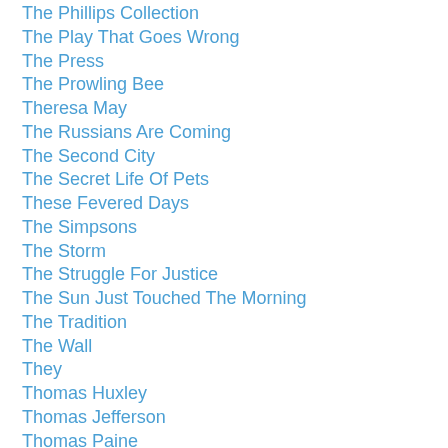The Phillips Collection
The Play That Goes Wrong
The Press
The Prowling Bee
Theresa May
The Russians Are Coming
The Second City
The Secret Life Of Pets
These Fevered Days
The Simpsons
The Storm
The Struggle For Justice
The Sun Just Touched The Morning
The Tradition
The Wall
They
Thomas Huxley
Thomas Jefferson
Thomas Paine
Three Day Weekends
Thuggery